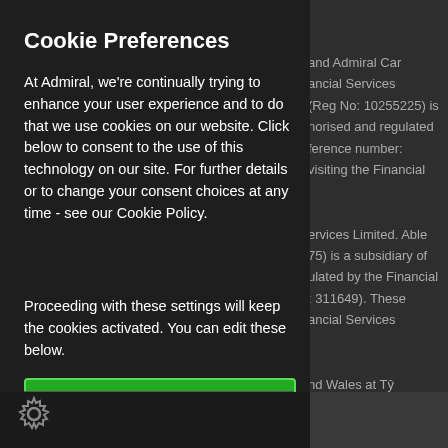Cookie Preferences
At Admiral, we're continually trying to enhance your user experience and to do that we use cookies on our website. Click below to consent to the use of this technology on our site. For further details or to change your consent choices at any time - see our Cookie Policy.
Proceeding with these settings will keep the cookies activated. You can edit these below.
PROCEED WITH THESE SETTINGS
and Admiral Car ancial Services (Reg No: 10255225) is norised and regulated ference number: visiting the Financial ervices Limited. Able 75) is a subsidiary of ulated by the Financial : 311649). These ancial Services nd Wales at Tŷ g No: 03849958).